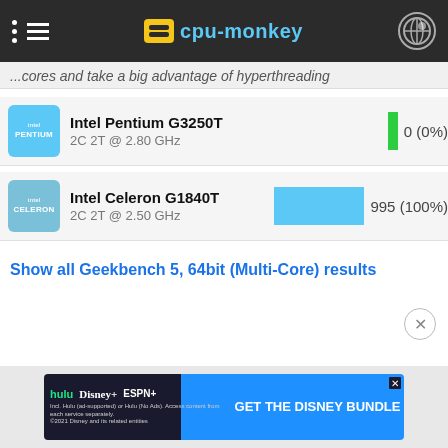cpu-monkey
...cores and take a big advantage of hyperthreading
Intel Pentium G3250T
2C 2T @ 2.80 GHz
0 (0%)
Intel Celeron G1840T
2C 2T @ 2.50 GHz
995 (100%)
Show all Geekbench 5, 64bit (Multi-Core) results
[Figure (screenshot): Disney Bundle advertisement banner with Hulu, Disney+, ESPN+ logos and GET THE DISNEY BUNDLE CTA]
Incl. Hulu (ad-supported) or Hulu (No Ads). Access content from each service separately. ©2021 Disney and its related entities